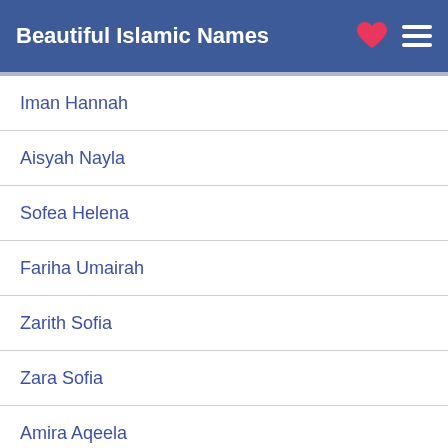Beautiful Islamic Names
Iman Hannah
Aisyah Nayla
Sofea Helena
Fariha Umairah
Zarith Sofia
Zara Sofia
Amira Aqeela
Umar Faiq
Nabilah Syahirah
Amna Maryam
Nur Amin
Falilah Qaireen
Ayla Noor